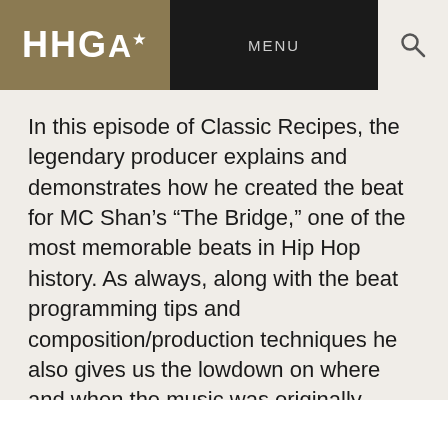HHGA MENU
In this episode of Classic Recipes, the legendary producer explains and demonstrates how he created the beat for MC Shan’s “The Bridge,” one of the most memorable beats in Hip Hop history. As always, along with the beat programming tips and composition/production techniques he also gives us the lowdown on where and when the music was originally created.